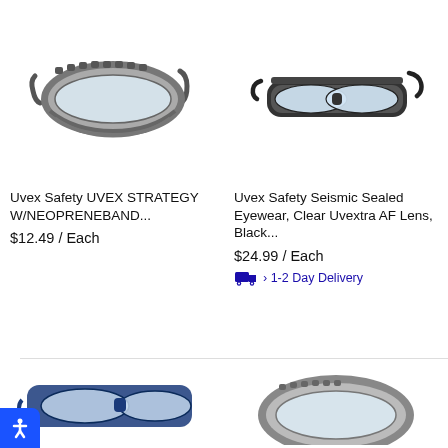[Figure (photo): Uvex grey safety goggles with clear lens and neoprene band, shown on white background]
[Figure (photo): Uvex Seismic sealed safety eyewear with clear Uvextra AF lens and black frame/strap, shown on white background]
Uvex Safety UVEX STRATEGY W/NEOPRENEBAND...
$12.49 / Each
Uvex Safety Seismic Sealed Eyewear, Clear Uvextra AF Lens, Black...
$24.99 / Each
› 1-2 Day Delivery
[Figure (photo): Partial view of safety glasses/goggles at bottom left]
[Figure (photo): Partial view of safety goggles at bottom right]